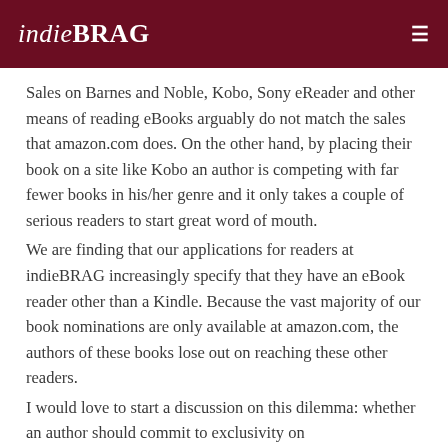indieBRAG
Sales on Barnes and Noble, Kobo, Sony eReader and other means of reading eBooks arguably do not match the sales that amazon.com does. On the other hand, by placing their book on a site like Kobo an author is competing with far fewer books in his/her genre and it only takes a couple of serious readers to start great word of mouth.
We are finding that our applications for readers at indieBRAG increasingly specify that they have an eBook reader other than a Kindle. Because the vast majority of our book nominations are only available at amazon.com, the authors of these books lose out on reaching these other readers.
I would love to start a discussion on this dilemma: whether an author should commit to exclusivity on